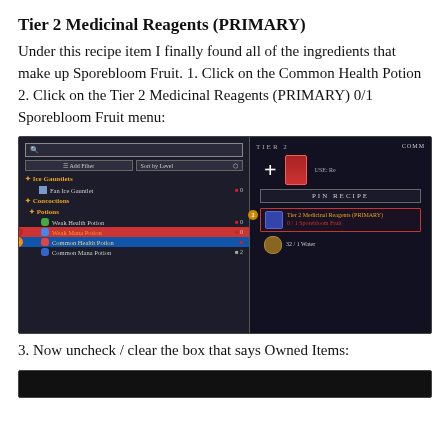Tier 2 Medicinal Reagents (PRIMARY)
Under this recipe item I finally found all of the ingredients that make up Sporebloom Fruit. 1. Click on the Common Health Potion 2. Click on the Tier 2 Medicinal Reagents (PRIMARY) 0/1 Sporebloom Fruit menu:
[Figure (screenshot): Game UI screenshot showing a crafting/recipe menu. Left panel shows a list of recipes including Ice Gauntlets, Concoctions > Potions with Common Health Potion selected (highlighted in blue). Right panel shows Tier 2 header, a plus icon with a red potion, a PIN RECIPE button, and ingredient requirements including Tier 2 Medicinal Reagents (PRIMARY) 0/1 Sporebloom Fruit highlighted in red, and 32/1 Water.]
3. Now uncheck / clear the box that says Owned Items:
[Figure (screenshot): Partial screenshot of game UI, cropped at bottom of page, dark background.]